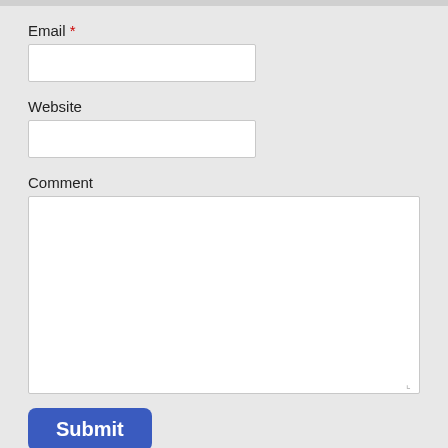Email *
Website
Comment
Submit
Confirm you are NOT a spammer